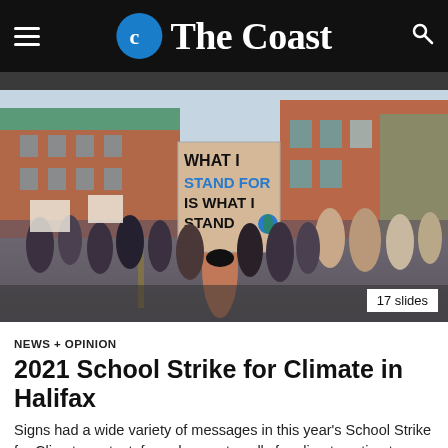The Coast
[Figure (photo): Protest crowd marching in front of a red brick building. A person in the foreground holds a sign reading 'WHAT I STAND FOR IS WHAT I STAND ON' with an image of the Earth. People wearing masks and carrying signs fill the street. Badge reads '17 slides'.]
NEWS + OPINION
2021 School Strike for Climate in Halifax
Signs had a wide variety of messages in this year's School Strike for Climate protest, from desperate calls for climate action to…